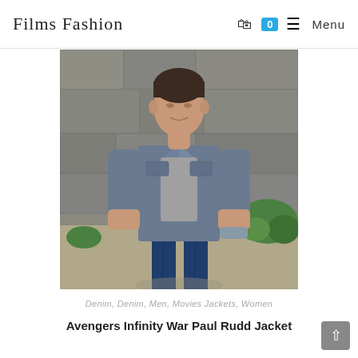Films Fashion | Menu
[Figure (photo): A man wearing a grey-blue denim jacket over a grey t-shirt and dark jeans, standing outdoors near a stone wall with green plants.]
Denim, Denim, Men, Movies Jackets, Women
Avengers Infinity War Paul Rudd Jacket